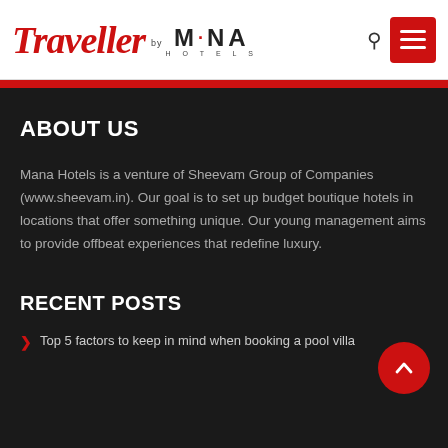[Figure (logo): Traveller by Mana Hotels logo with red cursive Traveller text and bold MANA Hotels text]
ABOUT US
Mana Hotels is a venture of Sheevam Group of Companies (www.sheevam.in). Our goal is to set up budget boutique hotels in locations that offer something unique. Our young management aims to provide offbeat experiences that redefine luxury.
RECENT POSTS
Top 5 factors to keep in mind when booking a pool villa